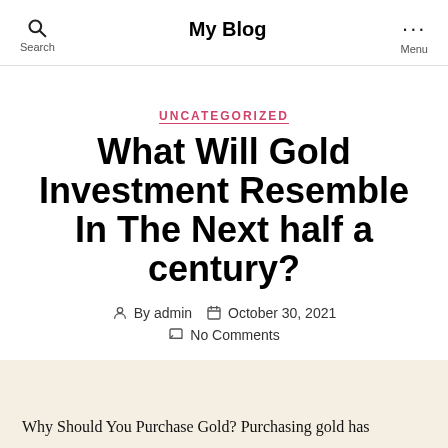My Blog
UNCATEGORIZED
What Will Gold Investment Resemble In The Next half a century?
By admin   October 30, 2021   No Comments
Why Should You Purchase Gold? Purchasing gold has